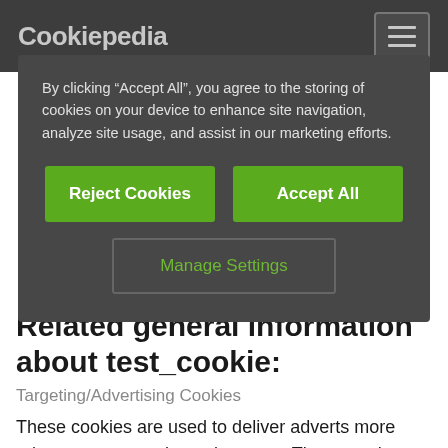Cookiepedia
By clicking “Accept All”, you agree to the storing of cookies on your device to enhance site navigation, analyze site usage, and assist in our marketing efforts.
Reject Cookies | Accept All | Manage Settings
Related general information about test_cookie:
Targeting/Advertising Cookies
These cookies are used to deliver adverts more relevant to you and your interests. They are also used to limit the number of times you see an